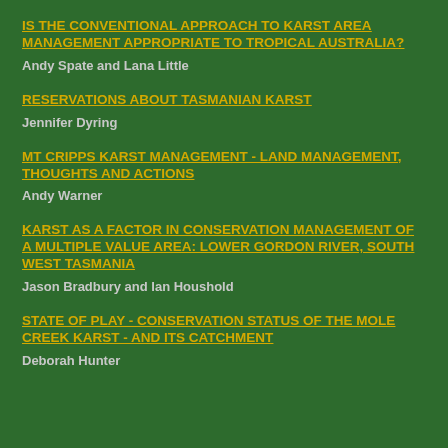IS THE CONVENTIONAL APPROACH TO KARST AREA MANAGEMENT APPROPRIATE TO TROPICAL AUSTRALIA?
Andy Spate and Lana Little
RESERVATIONS ABOUT TASMANIAN KARST
Jennifer Dyring
MT CRIPPS KARST MANAGEMENT - LAND MANAGEMENT, THOUGHTS AND ACTIONS
Andy Warner
KARST AS A FACTOR IN CONSERVATION MANAGEMENT OF A MULTIPLE VALUE AREA: LOWER GORDON RIVER, SOUTH WEST TASMANIA
Jason Bradbury and Ian Houshold
STATE OF PLAY - CONSERVATION STATUS OF THE MOLE CREEK KARST - AND ITS CATCHMENT
Deborah Hunter